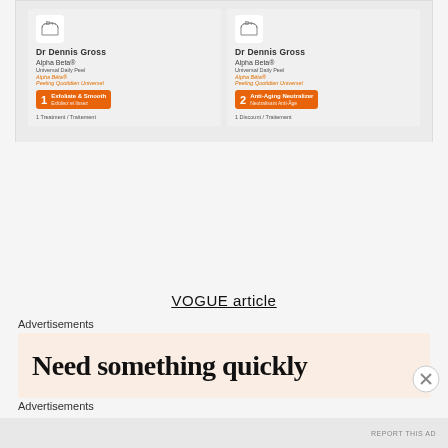[Figure (photo): Two Dr Dennis Gross Alpha Beta Universal Daily Peel product packets. Left packet shows Step 1 Exfoliate & Smooth badge in orange. Right packet shows Step 2 Anti-Aging Neutralizer badge in orange. Both packets are silver/white foil with the brand logo.]
VOGUE article
Advertisements
[Figure (photo): Advertisement banner with peach/salmon background showing partial large bold text beginning with 'Need something quickly']
Advertisements
REPORT THIS AD